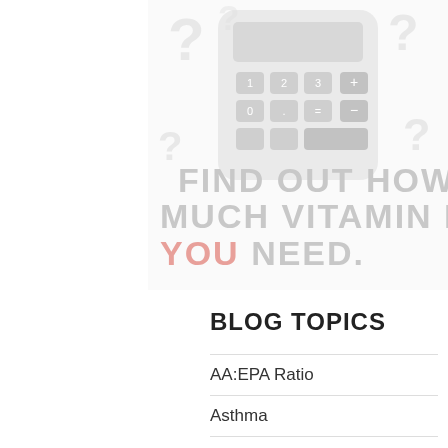[Figure (illustration): Faded illustration of a calculator surrounded by question marks with overlay text reading FIND OUT HOW MUCH VITAMIN D YOU NEED in large bold letters, where YOU is in pink/red and the rest is in gray]
BLOG TOPICS
AA:EPA Ratio
Asthma
Bone Health